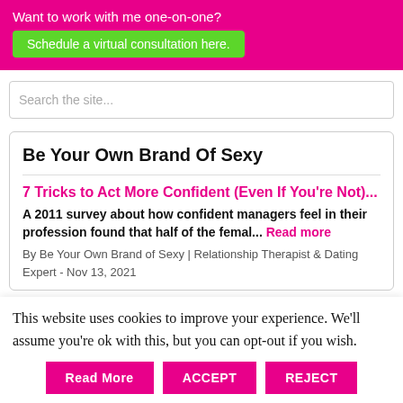Want to work with me one-on-one? Schedule a virtual consultation here.
Search the site...
Be Your Own Brand Of Sexy
7 Tricks to Act More Confident (Even If You're Not)...
A 2011 survey about how confident managers feel in their profession found that half of the femal... Read more
By Be Your Own Brand of Sexy | Relationship Therapist & Dating Expert - Nov 13, 2021
This website uses cookies to improve your experience. We'll assume you're ok with this, but you can opt-out if you wish.
Read More   ACCEPT   REJECT